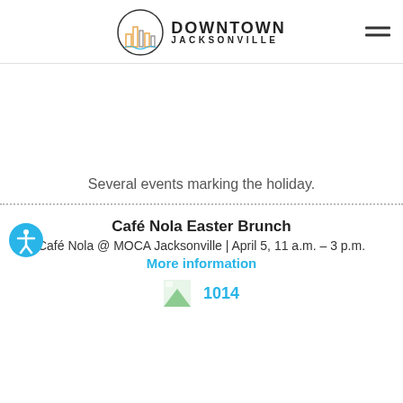[Figure (logo): Downtown Jacksonville logo with city skyline icon and text 'DOWNTOWN JACKSONVILLE']
Several events marking the holiday.
Café Nola Easter Brunch
Café Nola @ MOCA Jacksonville | April 5, 11 a.m. – 3 p.m.
More information
1014